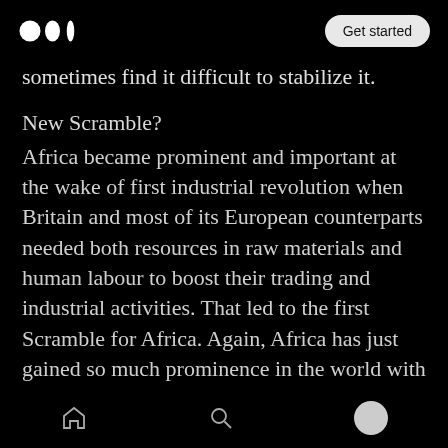Medium logo | Get started
sometimes find it difficult to stabilize it.
New Scramble?
Africa became prominent and important at the wake of first industrial revolution when Britain and most of its European counterparts needed both resources in raw materials and human labour to boost their trading and industrial activities. That led to the first Scramble for Africa. Again, Africa has just gained so much prominence in the world with almost synonymous speeches from Europe leaders just like said by EU Commissioner for Development in
Home | Search | Profile